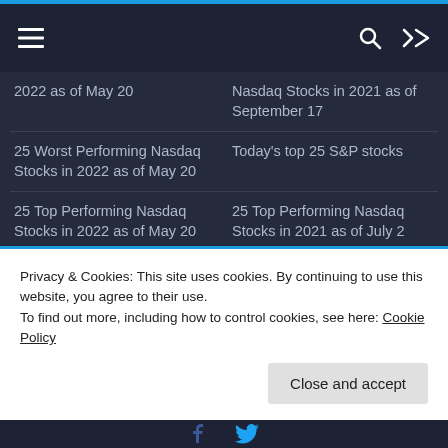Navigation bar with hamburger menu, search, and shuffle icons
2022 as of May 20
Nasdaq Stocks in 2021 as of September 17
25 Worst Performing Nasdaq Stocks in 2022 as of May 20
Today's top 25 S&P stocks
25 Top Performing Nasdaq Stocks in 2022 as of May 20
25 Top Performing Nasdaq Stocks in 2021 as of July 2
Best and worst performing Dow Jones (DJIA) stocks
50 Worst Performing S&P 500 Stocks in 2019
Privacy & Cookies: This site uses cookies. By continuing to use this website, you agree to their use.
To find out more, including how to control cookies, see here: Cookie Policy
Close and accept